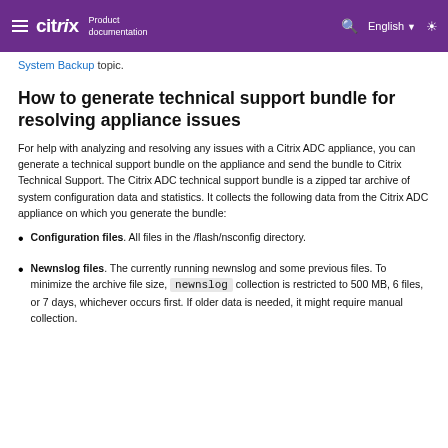citrix Product documentation | English
System Backup topic.
How to generate technical support bundle for resolving appliance issues
For help with analyzing and resolving any issues with a Citrix ADC appliance, you can generate a technical support bundle on the appliance and send the bundle to Citrix Technical Support. The Citrix ADC technical support bundle is a zipped tar archive of system configuration data and statistics. It collects the following data from the Citrix ADC appliance on which you generate the bundle:
Configuration files. All files in the /flash/nsconfig directory.
Newnslog files. The currently running newnslog and some previous files. To minimize the archive file size, newnslog collection is restricted to 500 MB, 6 files, or 7 days, whichever occurs first. If older data is needed, it might require manual collection.